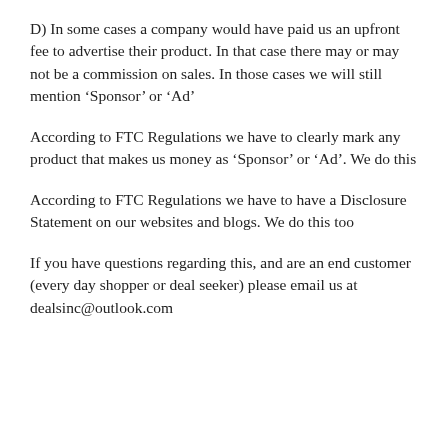D) In some cases a company would have paid us an upfront fee to advertise their product. In that case there may or may not be a commission on sales. In those cases we will still mention ‘Sponsor’ or ‘Ad’
According to FTC Regulations we have to clearly mark any product that makes us money as ‘Sponsor’ or ‘Ad’. We do this
According to FTC Regulations we have to have a Disclosure Statement on our websites and blogs. We do this too
If you have questions regarding this, and are an end customer (every day shopper or deal seeker) please email us at dealsinc@outlook.com